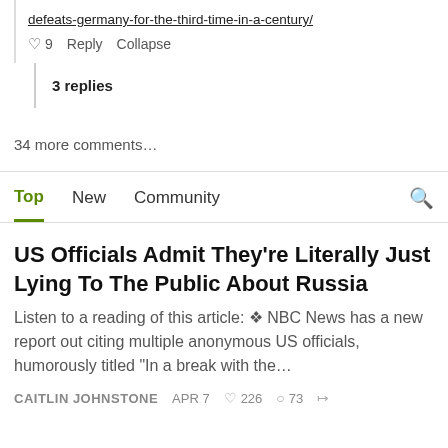defeats-germany-for-the-third-time-in-a-century/
♡ 9   Reply   Collapse
3 replies
34 more comments…
Top   New   Community
US Officials Admit They're Literally Just Lying To The Public About Russia
Listen to a reading of this article: ❖ NBC News has a new report out citing multiple anonymous US officials, humorously titled "In a break with the…
CAITLIN JOHNSTONE   APR 7   ♡ 226   ○ 73   share